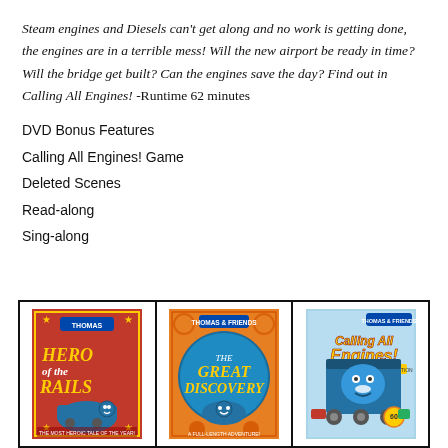Steam engines and Diesels can't get along and no work is getting done, the engines are in a terrible mess!  Will the new airport be ready in time?  Will the bridge get built?  Can the engines save the day?  Find out in Calling All Engines!  -Runtime 62 minutes
DVD Bonus Features
Calling All Engines! Game
Deleted Scenes
Read-along
Sing-along
[Figure (photo): Three Thomas & Friends DVD covers side by side: Hero of the Rails, The Great Discovery, and Calling All Engines!]